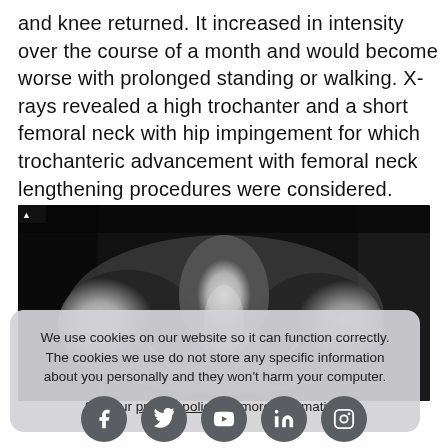and knee returned. It increased in intensity over the course of a month and would become worse with prolonged standing or walking. X-rays revealed a high trochanter and a short femoral neck with hip impingement for which trochanteric advancement with femoral neck lengthening procedures were considered.
[Figure (photo): X-ray image of the pelvis/hip area showing bone structure in grayscale]
We use cookies on our website so it can function correctly. The cookies we use do not store any specific information about you personally and they won't harm your computer.

See our privacy policy for more information.
[Figure (infographic): Social media icons row: Facebook, Twitter/X, YouTube, LinkedIn, Instagram]